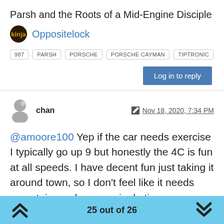Parsh and the Roots of a Mid-Engine Disciple
Oppositelock
987  PARSH  PORSCHE  PORSCHE CAYMAN  TIPTRONIC
Log in to reply
chan  Nov 18, 2020, 7:34 PM
@amoore100 Yep if the car needs exercise I typically go up 9 but honestly the 4C is fun at all speeds. I have decent fun just taking it around town, so I don't feel like it needs mountain roads every single time.
25 out of 26